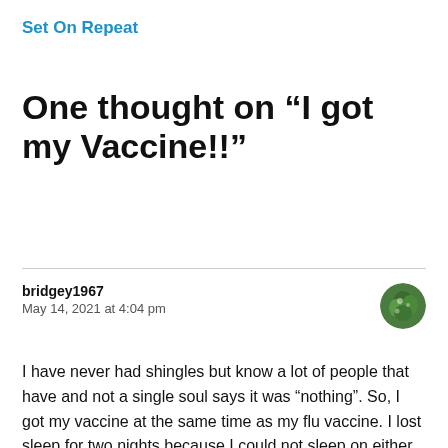Set On Repeat
One thought on “I got my Vaccine!!”
bridgey1967
May 14, 2021 at 4:04 pm
I have never had shingles but know a lot of people that have and not a single soul says it was “nothing”. So, I got my vaccine at the same time as my flu vaccine. I lost sleep for two nights because I could not sleep on either